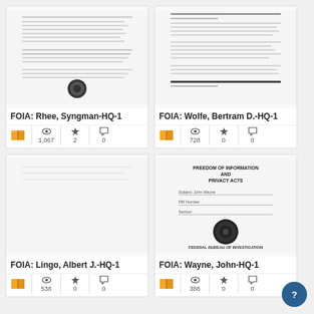[Figure (screenshot): FOIA document card: Rhee, Syngman-HQ-1, views 1067, stars 2, comments 0]
[Figure (screenshot): FOIA document card: Wolfe, Bertram D.-HQ-1, views 728, stars 0, comments 0]
[Figure (screenshot): FOIA document card: Lingo, Albert J.-HQ-1, views 538, stars 0, comments 0]
[Figure (screenshot): FOIA document card: Wayne, John-HQ-1, views 388, stars 0, comments 0]